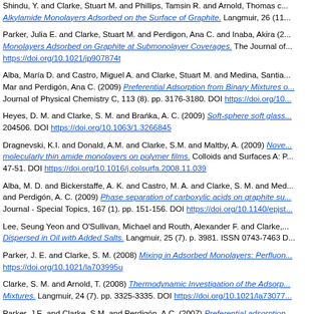Shindu, Y. and Clarke, Stuart M. and Phillips, Tamsin R. and Arnold, Thomas C... Alkylamide Monolayers Adsorbed on the Surface of Graphite. Langmuir, 26 (11...
Parker, Julia E. and Clarke, Stuart M. and Perdigon, Ana C. and Inaba, Akira (2... Monolayers Adsorbed on Graphite at Submonolayer Coverages. The Journal of... https://doi.org/10.1021/jp907874t
Alba, María D. and Castro, Miguel A. and Clarke, Stuart M. and Medina, Santia... Mar and Perdigón, Ana C. (2009) Preferential Adsorption from Binary Mixtures o... Journal of Physical Chemistry C, 113 (8). pp. 3176-3180. DOI https://doi.org/10...
Heyes, D. M. and Clarke, S. M. and Brańka, A. C. (2009) Soft-sphere soft glass... 204506. DOI https://doi.org/10.1063/1.3266845
Dragnevski, K.I. and Donald, A.M. and Clarke, S.M. and Maltby, A. (2009) Nove... molecularly thin amide monolayers on polymer films. Colloids and Surfaces A: P... 47-51. DOI https://doi.org/10.1016/j.colsurfa.2008.11.039
Alba, M. D. and Bickerstaffe, A. K. and Castro, M. A. and Clarke, S. M. and Med... and Perdigón, A. C. (2009) Phase separation of carboxylic acids on graphite su... Journal - Special Topics, 167 (1). pp. 151-156. DOI https://doi.org/10.1140/epjst...
Lee, Seung Yeon and O'Sullivan, Michael and Routh, Alexander F. and Clarke,... Dispersed in Oil with Added Salts. Langmuir, 25 (7). p. 3981. ISSN 0743-7463 D...
Parker, J. E. and Clarke, S. M. (2008) Mixing in Adsorbed Monolayers: Perfluon... https://doi.org/10.1021/la703995u
Clarke, S. M. and Arnold, T. (2008) Thermodynamic Investigation of the Adsorp... Mixtures. Langmuir, 24 (7). pp. 3325-3335. DOI https://doi.org/10.1021/la73077...
Parker, J.E. and Clarke, S.M. and Perdigón, A.C. (2007) Preferential adsorption...